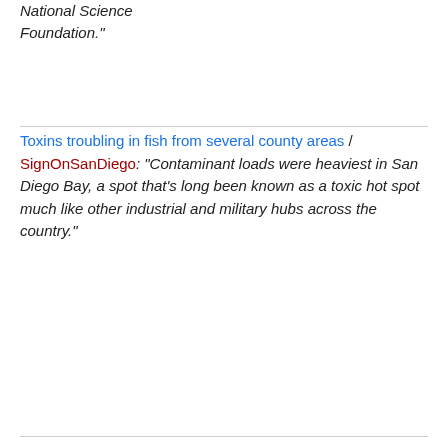National Science Foundation."
Toxins troubling in fish from several county areas / SignOnSanDiego: “Contaminant loads were heaviest in San Diego Bay, a spot that’s long been known as a toxic hot spot much like other industrial and military hubs across the country.”